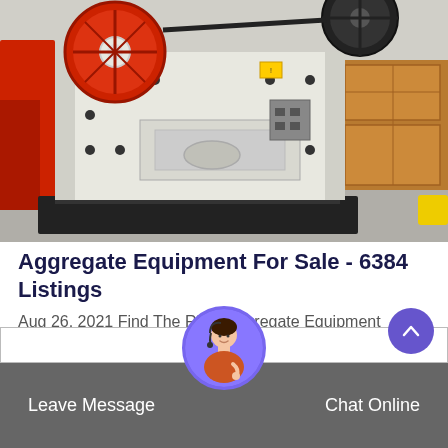[Figure (photo): Industrial jaw crusher / aggregate processing machine in white and red color, photographed in a large warehouse or factory floor. The machine has large flywheels, black bolts, and a heavy steel frame.]
Aggregate Equipment For Sale - 6384 Listings
Aug 26, 2021 Find The Right Aggregate Equipment Under the main Aggregate Equipment category, the Conveyor / Feeder / Stacker category is all about moving granular piec...